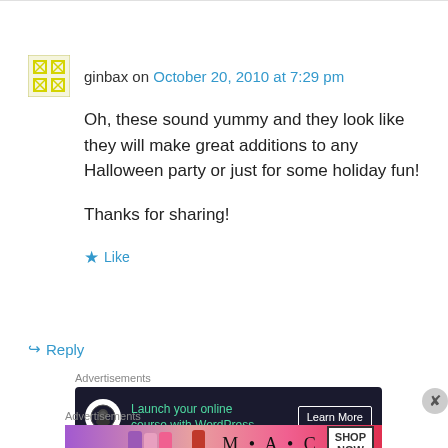ginbax on October 20, 2010 at 7:29 pm
Oh, these sound yummy and they look like they will make great additions to any Halloween party or just for some holiday fun!

Thanks for sharing!
★ Like
↳ Reply
Advertisements
[Figure (screenshot): Dark advertisement banner: Launch your online course with WordPress. Learn More button.]
Advertisements
[Figure (screenshot): M·A·C cosmetics advertisement with lipsticks and SHOP NOW button.]